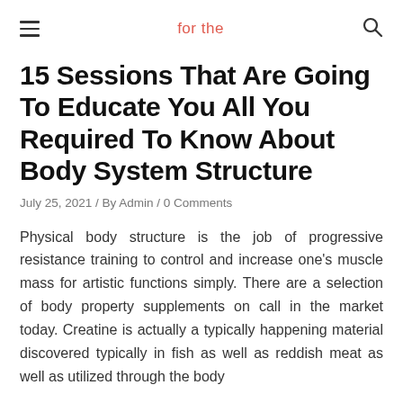for the
15 Sessions That Are Going To Educate You All You Required To Know About Body System Structure
July 25, 2021 / By Admin / 0 Comments
Physical body structure is the job of progressive resistance training to control and increase one's muscle mass for artistic functions simply. There are a selection of body property supplements on call in the market today. Creatine is actually a typically happening material discovered typically in fish as well as reddish meat as well as utilized through the body